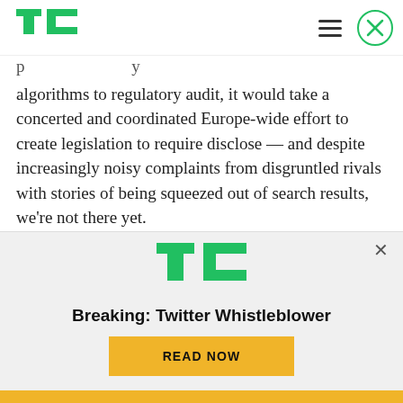TechCrunch header with logo, hamburger menu, and close button
p algorithms to regulatory audit, it would take a concerted and coordinated Europe-wide effort to create legislation to require disclose — and despite increasingly noisy complaints from disgruntled rivals with stories of being squeezed out of search results, we're not there yet.

You would also expect Google to fight tooth and
[Figure (screenshot): TechCrunch advertisement overlay with TC logo, headline 'Breaking: Twitter Whistleblower', and a yellow 'READ NOW' button, with a close (×) button in the top right]
Yellow strip at bottom